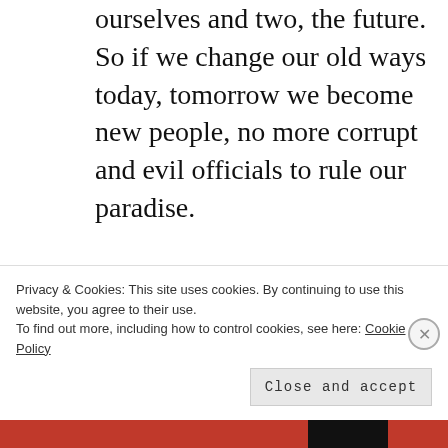ourselves and two, the future. So if we change our old ways today, tomorrow we become new people, no more corrupt and evil officials to rule our paradise.
DECEMBER 22, 2013 AT 6:08 AM | REPLY
JOSE DELA PENA says:
It is not the first time he showed arrogance and his perceived
Privacy & Cookies: This site uses cookies. By continuing to use this website, you agree to their use. To find out more, including how to control cookies, see here: Cookie Policy
Close and accept